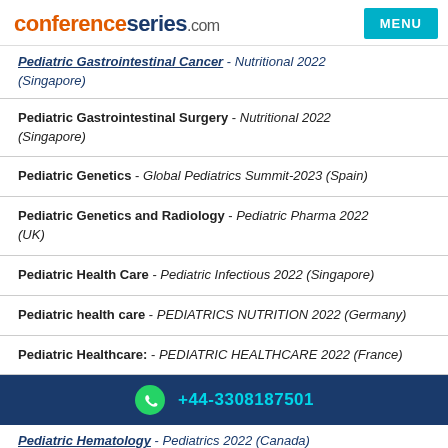conferenceseries.com
Pediatric Gastrointestinal Cancer - Nutritional 2022 (Singapore)
Pediatric Gastrointestinal Surgery - Nutritional 2022 (Singapore)
Pediatric Genetics - Global Pediatrics Summit-2023 (Spain)
Pediatric Genetics and Radiology - Pediatric Pharma 2022 (UK)
Pediatric Health Care - Pediatric Infectious 2022 (Singapore)
Pediatric health care - PEDIATRICS NUTRITION 2022 (Germany)
Pediatric Healthcare: - PEDIATRIC HEALTHCARE 2022 (France)
+44-3308187501
Pediatric Hematology - Pediatrics 2022 (Canada)